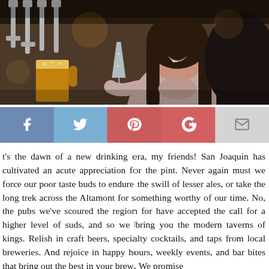[Figure (photo): Two people at a bar clinking drinks — a woman with long dark hair in a pink turtleneck sweater smiling and holding a champagne flute, another person holding a pint of beer. Bar taps visible in background.]
[Figure (infographic): Social sharing bar with five buttons: Facebook (blue), Twitter (light blue), Pinterest (red), Google+ (red), and Email (grey), each showing the respective icon in white.]
t's the dawn of a new drinking era, my friends! San Joaquin has cultivated an acute appreciation for the pint. Never again must we force our poor taste buds to endure the swill of lesser ales, or take the long trek across the Altamont for something worthy of our time. No, the pubs we've scoured the region for have accepted the call for a higher level of suds, and so we bring you the modern taverns of kings. Relish in craft beers, specialty cocktails, and taps from local breweries. And rejoice in happy hours, weekly events, and bar bites that bring out the best in your brew. We promise